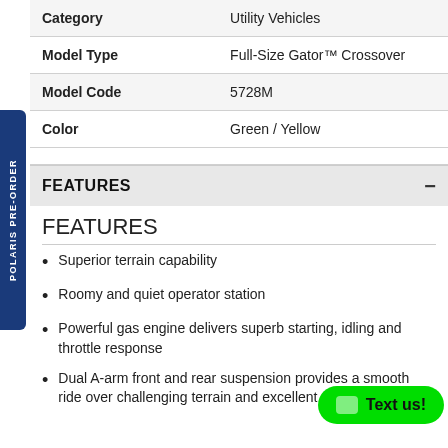| Field | Value |
| --- | --- |
| Category | Utility Vehicles |
| Model Type | Full-Size Gator™ Crossover |
| Model Code | 5728M |
| Color | Green / Yellow |
FEATURES
FEATURES
Superior terrain capability
Roomy and quiet operator station
Powerful gas engine delivers superb starting, idling and throttle response
Dual A-arm front and rear suspension provides a smooth ride over challenging terrain and excellent…